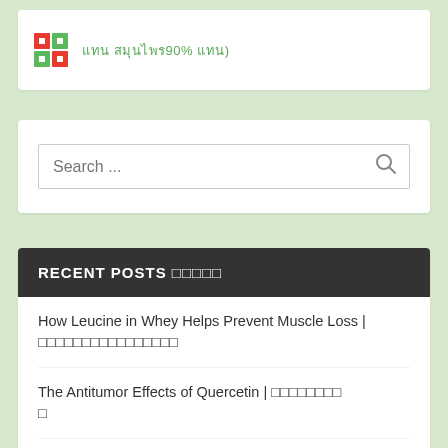[Figure (logo): Colorful grid icon logo with red and green squares]
แทน สมุนไพร90% แทน)
[Figure (screenshot): Search input box with Search ... placeholder and magnifying glass icon]
RECENT POSTS แทนแทนแทน
How Leucine in Whey Helps Prevent Muscle Loss | แทนแทนแทนแทนแทนแทนแทนแทน
The Antitumor Effects of Quercetin | แทนแทนแทนแทนแทน
Substances that can cause cancer | แทนแทนแทน
The Benefits of Vitamin C in Cancer Treatment | แทน C แทนแทนแทนแทน